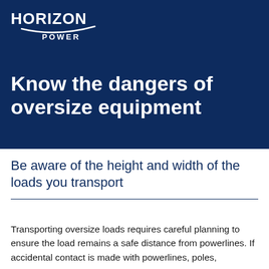[Figure (logo): Horizon Power logo with swoosh graphic and bold text]
Know the dangers of oversize equipment
Be aware of the height and width of the loads you transport
Transporting oversize loads requires careful planning to ensure the load remains a safe distance from powerlines. If accidental contact is made with powerlines, poles,